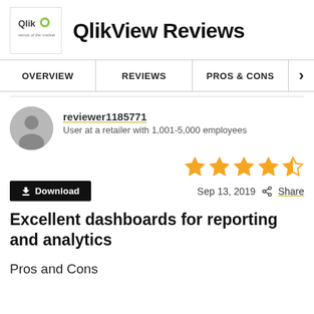QlikView Reviews
OVERVIEW | REVIEWS | PROS & CONS
reviewer1185771
User at a retailer with 1,001-5,000 employees
4.5 stars rating
Download   Sep 13, 2019   Share
Excellent dashboards for reporting and analytics
Pros and Cons